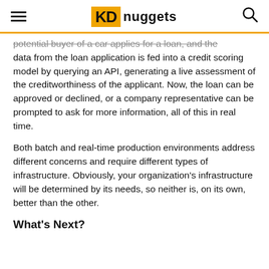KDnuggets
potential buyer of a car applies for a loan, and the data from the loan application is fed into a credit scoring model by querying an API, generating a live assessment of the creditworthiness of the applicant. Now, the loan can be approved or declined, or a company representative can be prompted to ask for more information, all of this in real time.
Both batch and real-time production environments address different concerns and require different types of infrastructure. Obviously, your organization's infrastructure will be determined by its needs, so neither is, on its own, better than the other.
What's Next?